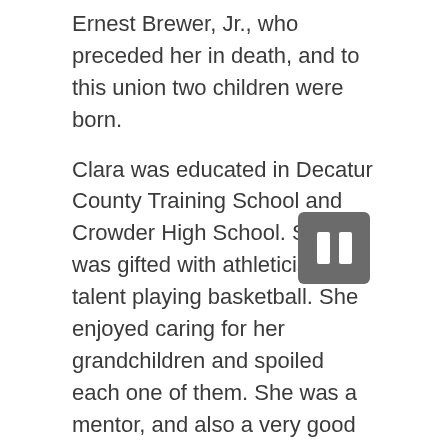Ernest Brewer, Jr., who preceded her in death, and to this union two children were born.
Clara was educated in Decatur County Training School and Crowder High School. She was gifted with athleticism talent playing basketball. She enjoyed caring for her grandchildren and spoiled each one of them. She was a mentor, and also a very good friend.
Clara accepted Christ at an early age and was a member of the Union Missionary Baptist Church in Bath Springs, TN.
She worked faithfully as the church secretary and as a choir member. She loved and supported her church faithfully.